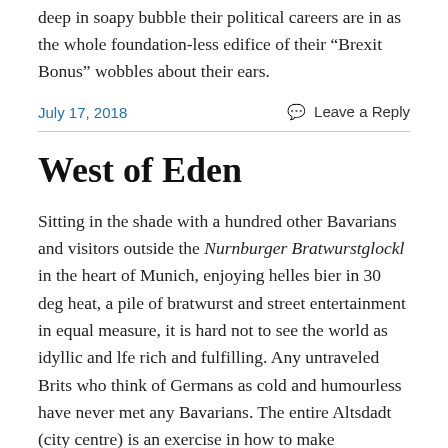deep in soapy bubble their political careers are in as the whole foundation-less edifice of their “Brexit Bonus” wobbles about their ears.
July 17, 2018
Leave a Reply
West of Eden
Sitting in the shade with a hundred other Bavarians and visitors outside the Nurnburger Bratwurstglockl in the heart of Munich, enjoying helles bier in 30 deg heat, a pile of bratwurst and street entertainment in equal measure, it is hard not to see the world as idyllic and lfe rich and fulfilling. Any untraveled Brits who think of Germans as cold and humourless have never met any Bavarians. The entire Altsdadt (city centre) is an exercise in how to make